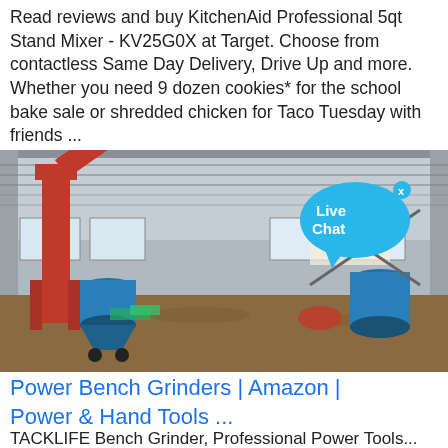Read reviews and buy KitchenAid Professional 5qt Stand Mixer - KV25G0X at Target. Choose from contactless Same Day Delivery, Drive Up and more. Whether you need 9 dozen cookies* for the school bake sale or shredded chicken for Taco Tuesday with friends ...
[Figure (photo): Industrial warehouse interior with large red grain auger/elevator machinery and blue cylindrical equipment on a dirt floor, with a 'Live Chat' speech bubble overlay in the upper right corner]
Power Bench Grinders | Amazon | Power & Hand Tools ...
TACKLIFE Bench Grinder, Professional Power Tools...